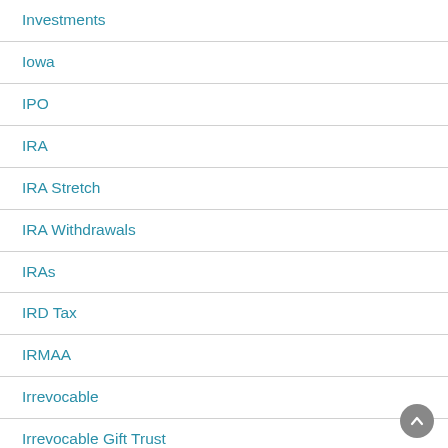Investments
Iowa
IPO
IRA
IRA Stretch
IRA Withdrawals
IRAs
IRD Tax
IRMAA
Irrevocable
Irrevocable Gift Trust
Irrevocable Life Insurance Trust
Irrevocable Life Insurance Trust (ILIT) Life Insurance